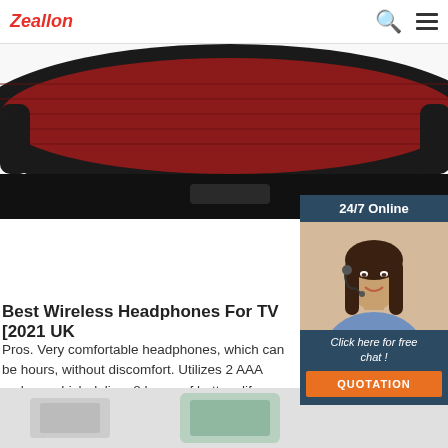Zeallon
[Figure (photo): Red and black wireless headphones product photo, top portion visible]
[Figure (photo): 24/7 Online chat widget with woman wearing headset, Click here for free chat, QUOTATION button]
Best Wireless Headphones For TV [2021 UK
Pros. Very comfortable headphones, which can be hours, without discomfort. Utilizes 2 AAA recharg which deliver 8 hours of battery life. Comes with a base unit for more convenience and added value delivering 100m ...
Get Price
[Figure (photo): Bottom strip showing partial product image on grey background]